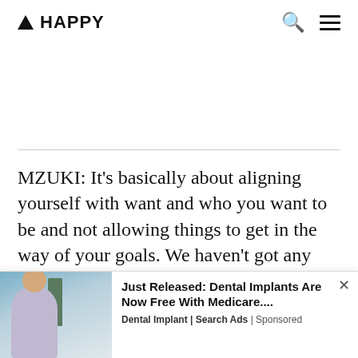▲ HAPPY
MZUKI: It's basically about aligning yourself with want and who you want to be and not allowing things to get in the way of your goals. We haven't got any time to you miss yah
[Figure (photo): Advertisement overlay: photo of a smiling woman outdoors near a tree, with ad text 'Just Released: Dental Implants Are Now Free With Medicare....' by Dental Implant | Search Ads | Sponsored]